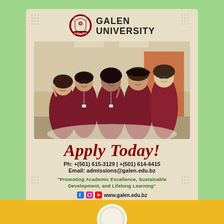[Figure (logo): Galen University circular crest logo]
GALEN UNIVERSITY
[Figure (photo): Five Galen University students in maroon polo shirts smiling in a hallway, some making peace signs]
Apply Today!
Ph: +(501) 615-3129 | +(501) 614-6415
Email: admissions@galen.edu.bz
"Promoting Academic Excellence, Sustainable Development, and Lifelong Learning"
www.galen.edu.bz